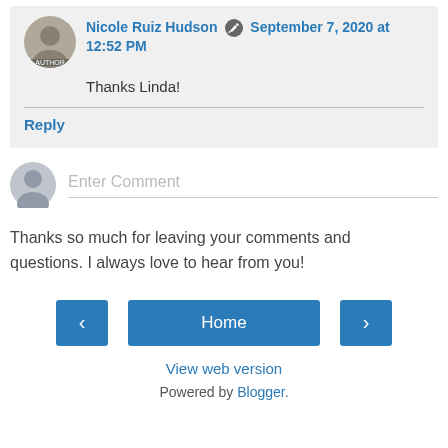Nicole Ruiz Hudson  September 7, 2020 at 12:52 PM
Thanks Linda!
Reply
Enter Comment
Thanks so much for leaving your comments and questions. I always love to hear from you!
Home
View web version
Powered by Blogger.